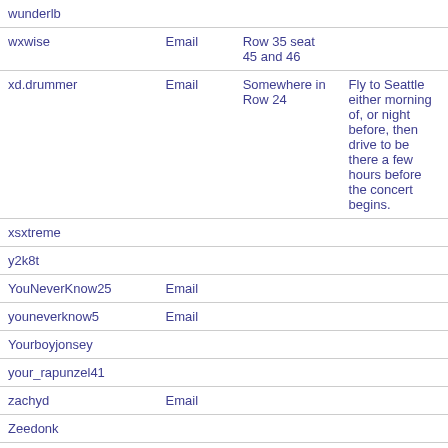| Username | Contact | Seat | Notes |
| --- | --- | --- | --- |
| wunderlb |  |  |  |
| wxwise | Email | Row 35 seat 45 and 46 |  |
| xd.drummer | Email | Somewhere in Row 24 | Fly to Seattle either morning of, or night before, then drive to be there a few hours before the concert begins. |
| xsxtreme |  |  |  |
| y2k8t |  |  |  |
| YouNeverKnow25 | Email |  |  |
| youneverknow5 | Email |  |  |
| Yourboyjonsey |  |  |  |
| your_rapunzel41 |  |  |  |
| zachyd | Email |  |  |
| Zeedonk |  |  |  |
| zeidrick |  |  |  |
| ZEKE |  |  |  |
| zepp33 |  |  |  |
| zodie |  |  |  |
| zooty77 |  | GA |  |